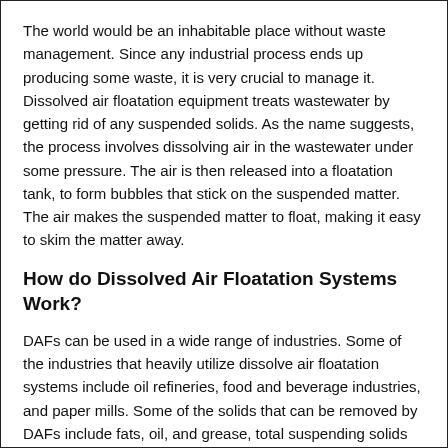The world would be an inhabitable place without waste management. Since any industrial process ends up producing some waste, it is very crucial to manage it. Dissolved air floatation equipment treats wastewater by getting rid of any suspended solids. As the name suggests, the process involves dissolving air in the wastewater under some pressure. The air is then released into a floatation tank, to form bubbles that stick on the suspended matter. The air makes the suspended matter to float, making it easy to skim the matter away.
How do Dissolved Air Floatation Systems Work?
DAFs can be used in a wide range of industries. Some of the industries that heavily utilize dissolve air floatation systems include oil refineries, food and beverage industries, and paper mills. Some of the solids that can be removed by DAFs include fats, oil, and grease, total suspending solids as well as any other pollutants. After